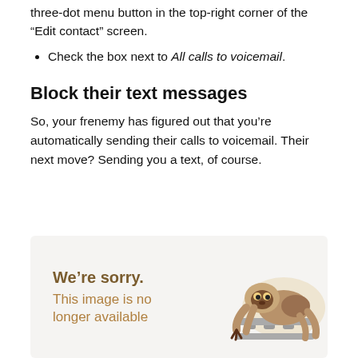three-dot menu button in the top-right corner of the “Edit contact” screen.
Check the box next to All calls to voicemail.
Block their text messages
So, your frenemy has figured out that you’re automatically sending their calls to voicemail. Their next move? Sending you a text, of course.
[Figure (illustration): A light beige/grey box with a sloth illustration on the right side and text on the left reading 'We’re sorry. This image is no longer available']